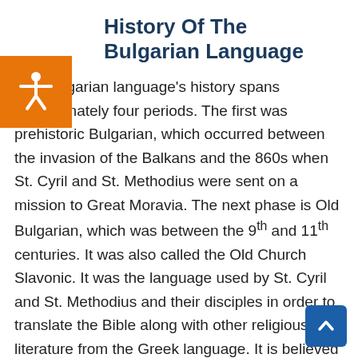History Of The Bulgarian Language
The Bulgarian language's history spans approximately four periods. The first was prehistoric Bulgarian, which occurred between the invasion of the Balkans and the 860s when St. Cyril and St. Methodius were sent on a mission to Great Moravia. The next phase is Old Bulgarian, which was between the 9th and 11th centuries. It was also called the Old Church Slavonic. It was the language used by St. Cyril and St. Methodius and their disciples in order to translate the Bible along with other religious literature from the Greek language. It is believed that Old Bulgarian was the first of the Slavic languages to be attested in writing.